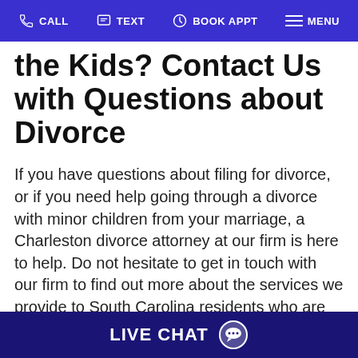CALL  TEXT  BOOK APPT  MENU
the Kids? Contact Us with Questions about Divorce
If you have questions about filing for divorce, or if you need help going through a divorce with minor children from your marriage, a Charleston divorce attorney at our firm is here to help. Do not hesitate to get in touch with our firm to find out more about the services we provide to South Carolina residents who are getting
LIVE CHAT